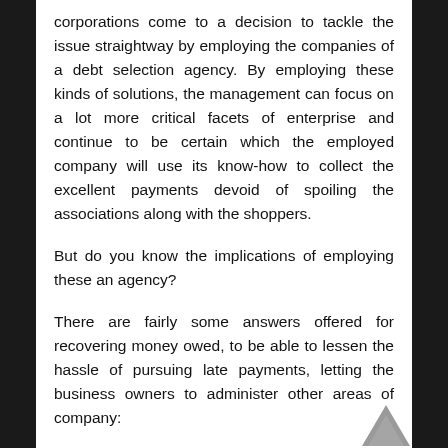corporations come to a decision to tackle the issue straightway by employing the companies of a debt selection agency. By employing these kinds of solutions, the management can focus on a lot more critical facets of enterprise and continue to be certain which the employed company will use its know-how to collect the excellent payments devoid of spoiling the associations along with the shoppers.
But do you know the implications of employing these an agency?
There are fairly some answers offered for recovering money owed, to be able to lessen the hassle of pursuing late payments, letting the business owners to administer other areas of company: